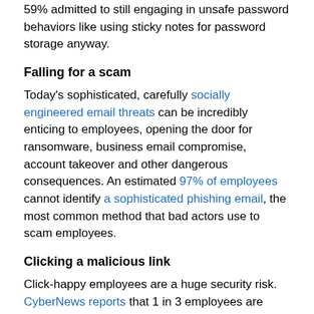59% admitted to still engaging in unsafe password behaviors like using sticky notes for password storage anyway.
Falling for a scam
Today's sophisticated, carefully socially engineered email threats can be incredibly enticing to employees, opening the door for ransomware, business email compromise, account takeover and other dangerous consequences. An estimated 97% of employees cannot identify a sophisticated phishing email, the most common method that bad actors use to scam employees.
Clicking a malicious link
Click-happy employees are a huge security risk. CyberNews reports that 1 in 3 employees are likely to click the links in phishing emails, and 1 in 8 employees are likely to share information requested in a phishing email. In